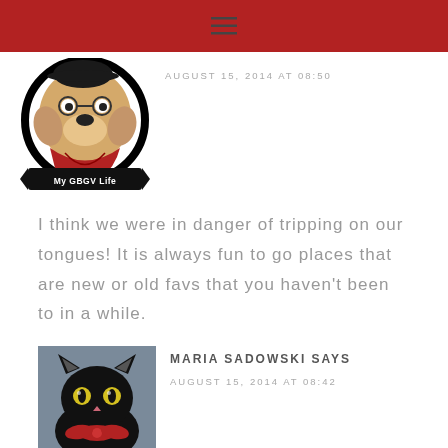[Figure (logo): Red navigation bar with hamburger menu icon]
[Figure (illustration): Circular logo with cartoon dog wearing red clothing, text 'My GBGV Life' on black ribbon]
AUGUST 15, 2014 AT 08:50
I think we were in danger of tripping on our tongues! It is always fun to go places that are new or old favs that you haven't been to in a while.
[Figure (photo): Photo of a black cat with yellow-green eyes wearing a red bow/collar]
MARIA SADOWSKI SAYS
AUGUST 15, 2014 AT 08:42